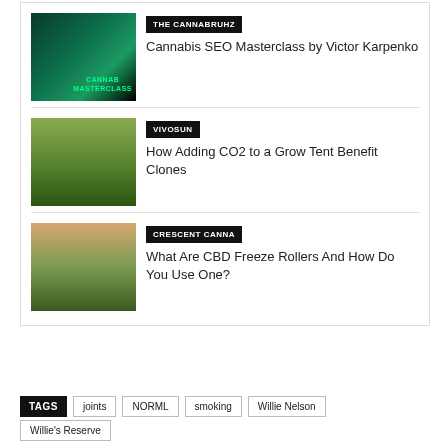[Figure (screenshot): Thumbnail for Cannabis SEO Masterclass video - dark green background with cannabis branding and masterclass text]
THE CANNABRUHZ
Cannabis SEO Masterclass by Victor Karpenko
[Figure (photo): Close-up photo of a cannabis plant bud against blurred background]
VIVOSUN
How Adding CO2 to a Grow Tent Benefit Clones
[Figure (photo): Woman outdoors holding a CBD freeze roller product]
CRESCENT CANNA
What Are CBD Freeze Rollers And How Do You Use One?
TAGS  joints  NORML  smoking  Willie Nelson
Willie's Reserve